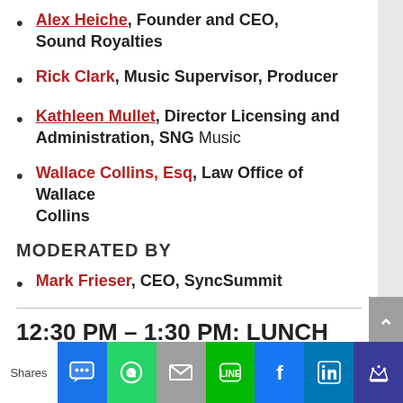Alex Heiche, Founder and CEO, Sound Royalties
Rick Clark, Music Supervisor, Producer
Kathleen Mullet, Director Licensing and Administration, SNG Music
Wallace Collins, Esq, Law Office of Wallace Collins
MODERATED BY
Mark Frieser, CEO, SyncSummit
12:30 PM – 1:30 PM: LUNCH AND NETWORKING
Shares [social share icons: SMS, WhatsApp, Mail, LINE, Facebook, LinkedIn, Crown]